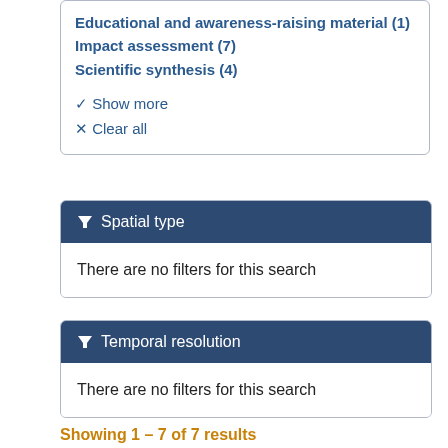Educational and awareness-raising material (1)
Impact assessment (7)
Scientific synthesis (4)
▼ Show more
✕ Clear all
▼ Spatial type
There are no filters for this search
▼ Temporal resolution
There are no filters for this search
Showing 1 - 7 of 7 results